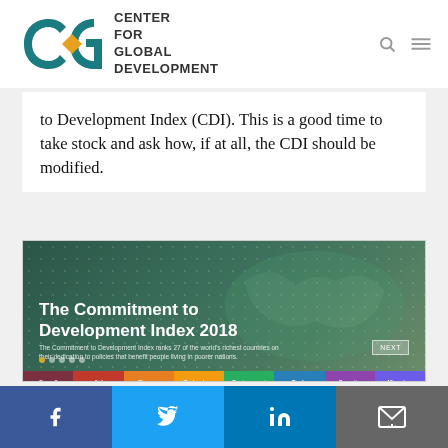CGD Center for Global Development
to Development Index (CDI). This is a good time to take stock and ask how, if at all, the CDI should be modified.
[Figure (screenshot): Screenshot of the Commitment to Development Index 2018 interactive page on the CGD website, showing a world map banner with the title 'The Commitment to Development Index 2018', category tabs (Overall, Aid, Finance, Technology, Environment, Trade, Security, Migration), and a ranking table with Sweden (1, 5.49), Denmark (2, 5.48), Finland (3*, 5.32), Germany (3*, 5.32)]
Facebook | Twitter | LinkedIn | Email